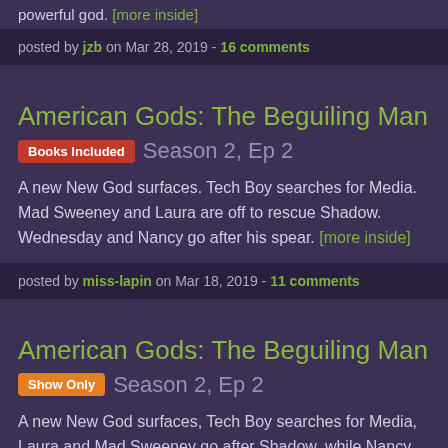powerful god. [more inside]
posted by jzb on Mar 28, 2019 - 16 comments
American Gods: The Beguiling Man
Books Included  Season 2, Ep 2
A new New God surfaces. Tech Boy searches for Media. Mad Sweeney and Laura are off to rescue Shadow. Wednesday and Nancy go after his spear. [more inside]
posted by miss-lapin on Mar 18, 2019 - 11 comments
American Gods: The Beguiling Man
Show Only  Season 2, Ep 2
A new New God surfaces, Tech Boy searches for Media, Laura and Mad Sweeney go after Shadow, while Nancy and Wednesday go after his spear. [more inside]